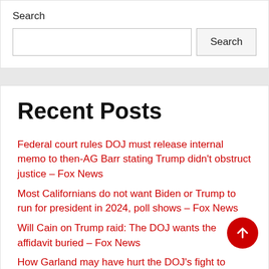Search
Search input and button
Recent Posts
Federal court rules DOJ must release internal memo to then-AG Barr stating Trump didn't obstruct justice – Fox News
Most Californians do not want Biden or Trump to run for president in 2024, poll shows – Fox News
Will Cain on Trump raid: The DOJ wants the affidavit buried – Fox News
How Garland may have hurt the DOJ's fight to